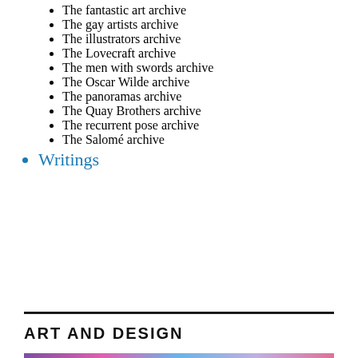The fantastic art archive
The gay artists archive
The illustrators archive
The Lovecraft archive
The men with swords archive
The Oscar Wilde archive
The panoramas archive
The Quay Brothers archive
The recurrent pose archive
The Salomé archive
Writings
ART AND DESIGN
[Figure (photo): Colorful abstract image strip at bottom of page with purple, pink, and blue tones]